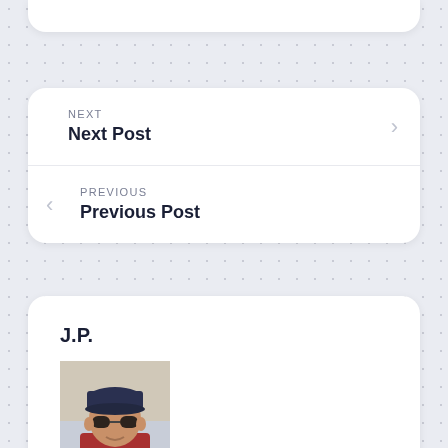NEXT
Next Post
PREVIOUS
Previous Post
J.P.
[Figure (photo): Profile photo of J.P. — a man wearing a baseball cap and sunglasses]
Just a guy with a husband. We've been together 26 years and he still makes me see fireworks on a daily basis. Tech Guy. Data Geek. Open Source. Hackerish.